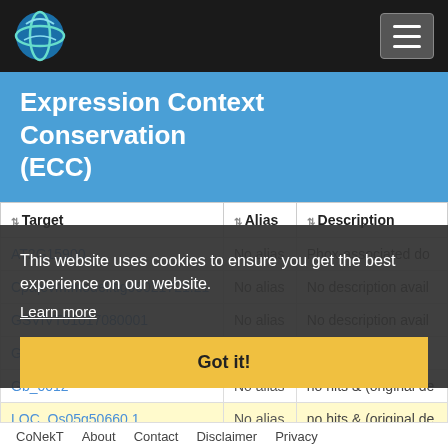CoNekT (navigation bar with logo and menu)
Expression Context Conservation (ECC)
| Target | Alias | Description |
| --- | --- | --- |
| AT2G15900 | No alias | Phox-associated do… |
| Cpa|evm.model.tig00021721.21 | No alias | No description avail… |
| GSVIVT01017080001 | No alias | No description avail… |
| GSVIVT01031845001 | No alias | No description avail… |
| Gb_0012… | No alias | no hits & (original de… |
| LOC_Os05g50660.1 | No alias | no hits & (original de… |
| LOC_Os11g06040.1 | No alias | no hits & (original de… |
This website uses cookies to ensure you get the best experience on our website.
Learn more
Got it!
CoNekT   About   Contact   Disclaimer   Privacy policy